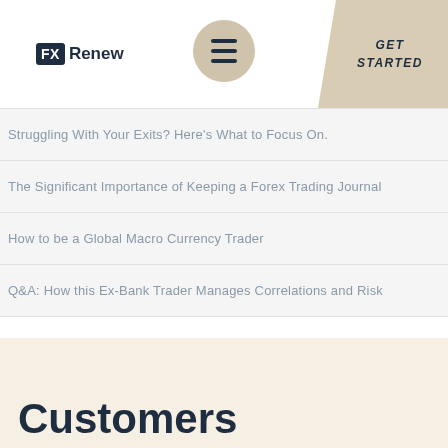FX Renew | GET STARTED
Struggling With Your Exits? Here's What to Focus On.
The Significant Importance of Keeping a Forex Trading Journal
How to be a Global Macro Currency Trader
Q&A: How this Ex-Bank Trader Manages Correlations and Risk
Customers